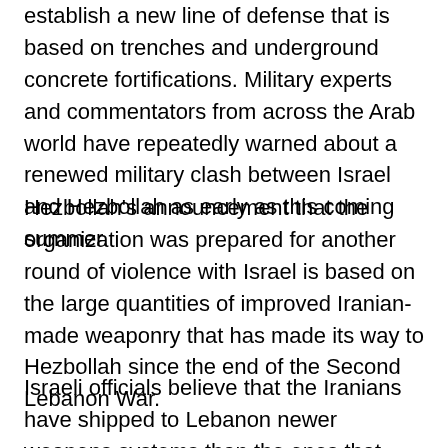establish a new line of defense that is based on trenches and underground concrete fortifications. Military experts and commentators from across the Arab world have repeatedly warned about a renewed military clash between Israel and Hezbollah as early as this coming summer.
Hezbollah's announcement that the organization was prepared for another round of violence with Israel is based on the large quantities of improved Iranian-made weaponry that has made its way to Hezbollah since the end of the Second Lebanon War.
Israeli officials believe that the Iranians have shipped to Lebanon newer weapons systems than the ones that were in Hezbollah's arsenal in the most recent war. Israeli weapons system experts said Saturday that the Iranian weapons industry was given precise information about the use that was made of the Iranian weapons systems in the course of